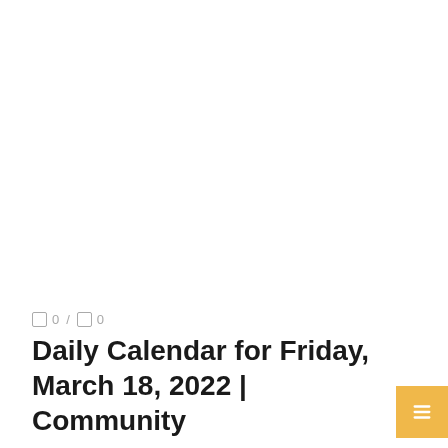0 / 0
Daily Calendar for Friday, March 18, 2022 | Community...